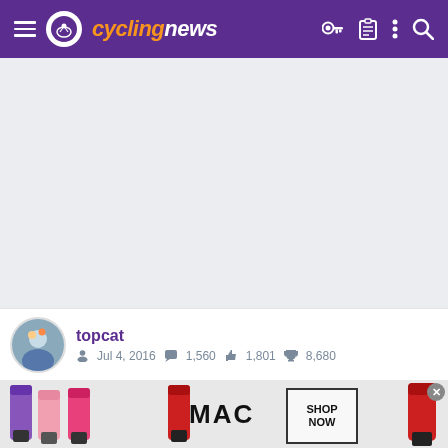cyclingnews
[Figure (screenshot): Large blank/light gray content area below header, representing empty page content area]
topcat  Jul 4, 2016  1,560  1,801  8,680
[Figure (photo): MAC cosmetics advertisement banner showing colorful lipsticks with SHOP NOW button]